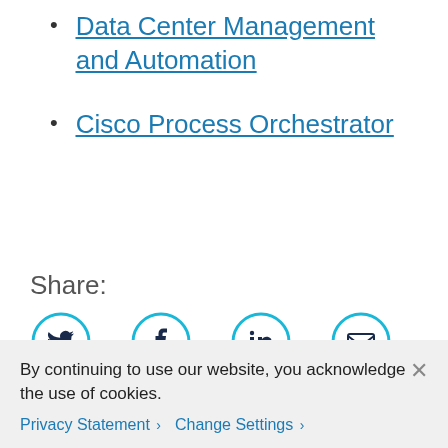Data Center Management and Automation
Cisco Process Orchestrator
Share:
[Figure (infographic): Four social sharing icons in cyan circles: Twitter bird, Facebook f, LinkedIn in, Email envelope]
Tags: automation  Borderless Networks  Cisco
By continuing to use our website, you acknowledge the use of cookies. Privacy Statement > Change Settings >